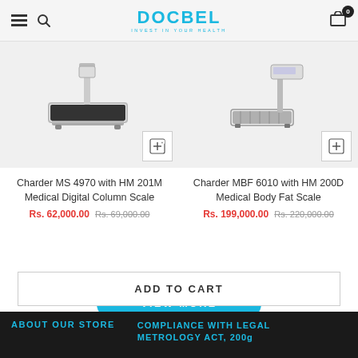DOCBEL — INVEST IN YOUR HEALTH
[Figure (photo): Charder MS 4970 medical digital column scale product image on light gray background]
Charder MS 4970 with HM 201M Medical Digital Column Scale
Rs. 62,000.00  Rs. 69,000.00
[Figure (photo): Charder MBF 6010 medical body fat scale product image on light gray background]
Charder MBF 6010 with HM 200D Medical Body Fat Scale
Rs. 199,000.00  Rs. 220,000.00
VIEW MORE
ADD TO CART
ABOUT OUR STORE   COMPLIANCE WITH LEGAL METROLOGY ACT, 200g